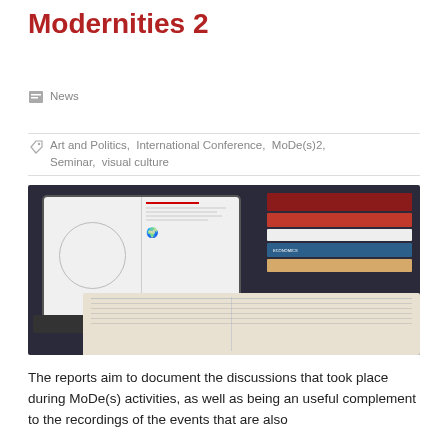Modernities 2
News
Art and Politics,  International Conference,  MoDe(s)2,  Seminar,  visual culture
[Figure (photo): A laptop showing a document with a circle and world map graphic on screen, surrounded by stacked books and an open notebook in a dark setting.]
The reports aim to document the discussions that took place during MoDe(s) activities, as well as being an useful complement to the recordings of the events that are also